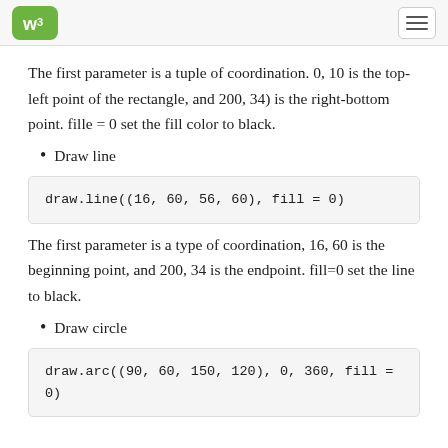W3Schools logo and navigation
The first parameter is a tuple of coordination. 0, 10 is the top-left point of the rectangle, and 200, 34) is the right-bottom point. fille = 0 set the fill color to black.
Draw line
draw.line((16, 60, 56, 60), fill = 0)
The first parameter is a type of coordination, 16, 60 is the beginning point, and 200, 34 is the endpoint. fill=0 set the line to black.
Draw circle
draw.arc((90, 60, 150, 120), 0, 360, fill = 0)